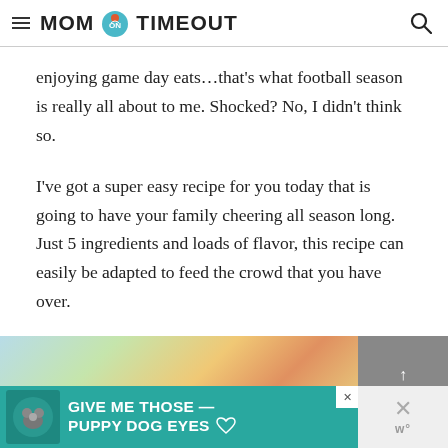MOM ON TIMEOUT
enjoying game day eats...that's what football season is really all about to me. Shocked? No, I didn't think so.
I've got a super easy recipe for you today that is going to have your family cheering all season long. Just 5 ingredients and loads of flavor, this recipe can easily be adapted to feed the crowd that you have over.
[Figure (screenshot): Advertisement banner: blurred colorful food image on top, and a teal ad banner at bottom reading 'GIVE ME THOSE PUPPY DOG EYES' with a dog image and close buttons]